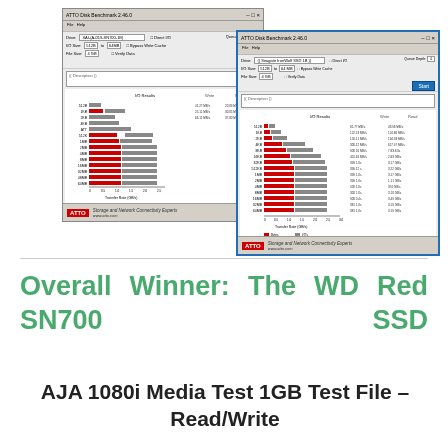[Figure (screenshot): ATTO Disk Benchmark software window showing storage benchmark results with horizontal bar chart for an SSD drive. Left screenshot showing write/read performance data.]
[Figure (screenshot): ATTO Disk Benchmark software window showing storage benchmark results with horizontal bar chart for Seagate IronWolf SSD device. Right screenshot with blue border showing write/read performance data.]
Overall Winner: The WD Red SN700 SSD
AJA 1080i Media Test 1GB Test File – Read/Write